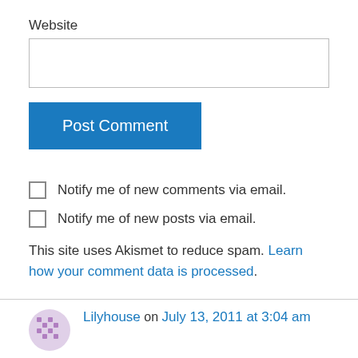Website
Post Comment
Notify me of new comments via email.
Notify me of new posts via email.
This site uses Akismet to reduce spam. Learn how your comment data is processed.
Lilyhouse on July 13, 2011 at 3:04 am
A really clever post – Thank you very much, I hope you will not mind me blogging about this